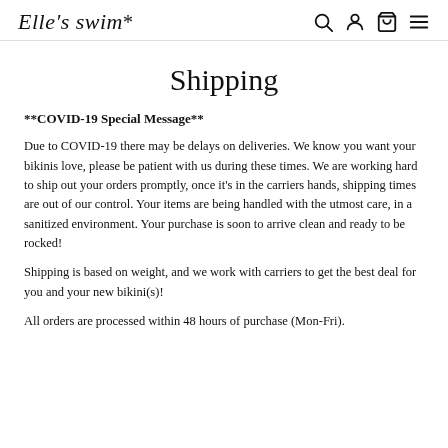Elle's swim*
Shipping
**COVID-19 Special Message**
Due to COVID-19 there may be delays on deliveries. We know you want your bikinis love, please be patient with us during these times. We are working hard to ship out your orders promptly, once it's in the carriers hands, shipping times are out of our control. Your items are being handled with the utmost care, in a sanitized environment. Your purchase is soon to arrive clean and ready to be rocked!
Shipping is based on weight, and we work with carriers to get the best deal for you and your new bikini(s)!
All orders are processed within 48 hours of purchase (Mon-Fri).